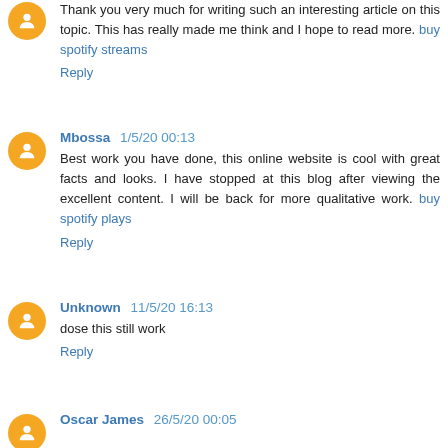Thank you very much for writing such an interesting article on this topic. This has really made me think and I hope to read more. buy spotify streams
Reply
Mbossa 1/5/20 00:13
Best work you have done, this online website is cool with great facts and looks. I have stopped at this blog after viewing the excellent content. I will be back for more qualitative work. buy spotify plays
Reply
Unknown 11/5/20 16:13
dose this still work
Reply
Oscar James 26/5/20 00:05